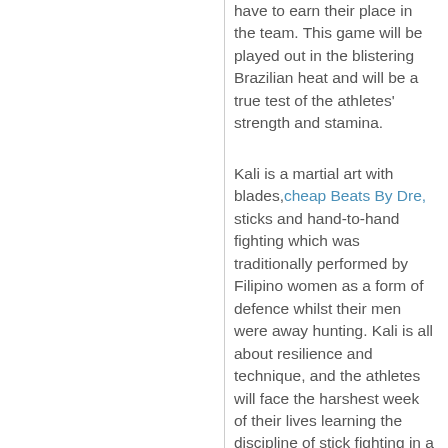have to earn their place in the team. This game will be played out in the blistering Brazilian heat and will be a true test of the athletes' strength and stamina.
Kali is a martial art with blades, cheap Beats By Dre, sticks and hand-to-hand fighting which was traditionally performed by Filipino women as a form of defence whilst their men were away hunting. Kali is all about resilience and technique, and the athletes will face the harshest week of their lives learning the discipline of stick fighting in a remote martial arts training camp. According to